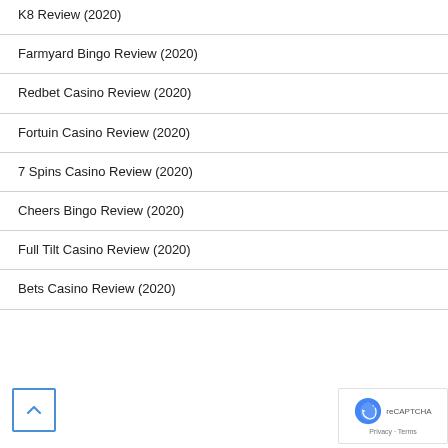K8 Review (2020)
Farmyard Bingo Review (2020)
Redbet Casino Review (2020)
Fortuin Casino Review (2020)
7 Spins Casino Review (2020)
Cheers Bingo Review (2020)
Full Tilt Casino Review (2020)
Bets Casino Review (2020)